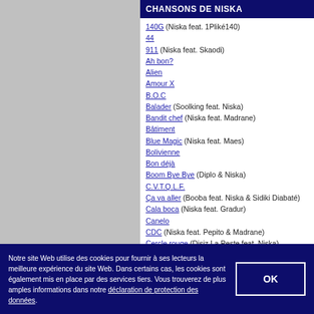CHANSONS DE NISKA
140G (Niska feat. 1Pliké140)
44
911 (Niska feat. Skaodi)
Ah bon?
Alien
Amour X
B.O.C
Balader (Soolking feat. Niska)
Bandit chef (Niska feat. Madrane)
Bâtiment
Blue Magic (Niska feat. Maes)
Bolivienne
Bon déjà
Boom Bye Bye (Diplo & Niska)
C.V.T.Q.L.F.
Ça va aller (Booba feat. Niska & Sidiki Diabaté)
Cala boca (Niska feat. Gradur)
Canelo
CDC (Niska feat. Pepito & Madrane)
Cercle rouge (Disiz La Peste feat. Niska)
Chargé
Chasse à l'homme
Claquer la monnaie (Niska feat. Madrane)
Commando
Country
Criminel (Bramsito feat. Niska)
Notre site Web utilise des cookies pour fournir à ses lecteurs la meilleure expérience du site Web. Dans certains cas, les cookies sont également mis en place par des services tiers. Vous trouverez de plus amples informations dans notre déclaration de protection des données.